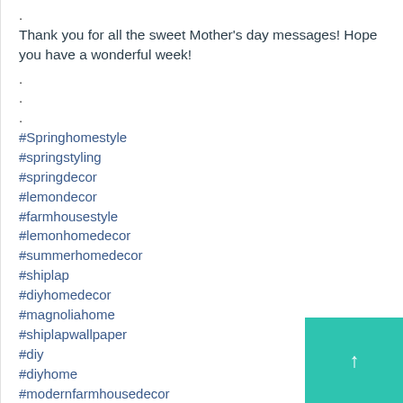. Thank you for all the sweet Mother's day messages! Hope you have a wonderful week!
.
.
.
#Springhomestyle
#springstyling
#springdecor
#lemondecor
#farmhousestyle
#lemonhomedecor
#summerhomedecor
#shiplap
#diyhomedecor
#magnoliahome
#shiplapwallpaper
#diy
#diyhome
#modernfarmhousedecor
#farmhousestyle
#farmhousedecor
#betterhomesandgardens
#bhginspiration
#homebeautiful